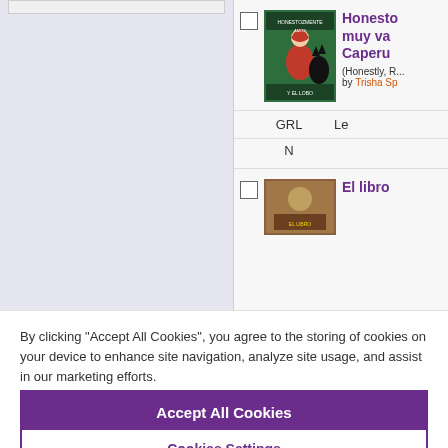[Figure (screenshot): Left panel showing a light purple/lavender book list area with a partial input bar at top]
[Figure (illustration): Book cover for Honestozmente Amos, showing Red Riding Hood and a wolf]
Honesto... muy va... Caperu... (Honestly, ... by Trisha Sp...
GRL
Le...
N
[Figure (photo): Partial book cover for El libro...]
El libro...
By clicking “Accept All Cookies”, you agree to the storing of cookies on your device to enhance site navigation, analyze site usage, and assist in our marketing efforts.
Accept All Cookies
Cookies Settings